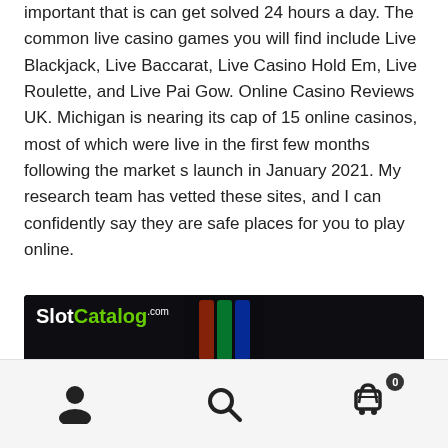important that is can get solved 24 hours a day. The common live casino games you will find include Live Blackjack, Live Baccarat, Live Casino Hold Em, Live Roulette, and Live Pai Gow. Online Casino Reviews UK. Michigan is nearing its cap of 15 online casinos, most of which were live in the first few months following the market s launch in January 2021. My research team has vetted these sites, and I can confidently say they are safe places for you to play online.
[Figure (screenshot): SlotCatalog.com branded image showing a dark casino background with neon 'JOKER' sign glowing in pink/purple neon lights]
Navigation bar with person icon, search icon, and cart icon with badge showing 0